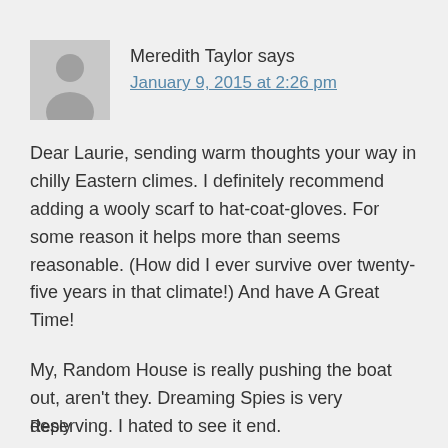[Figure (illustration): Grey avatar placeholder image of a person silhouette]
Meredith Taylor says
January 9, 2015 at 2:26 pm
Dear Laurie, sending warm thoughts your way in chilly Eastern climes. I definitely recommend adding a wooly scarf to hat-coat-gloves. For some reason it helps more than seems reasonable. (How did I ever survive over twenty-five years in that climate!) And have A Great Time!
My, Random House is really pushing the boat out, aren't they. Dreaming Spies is very deserving. I hated to see it end.
best to all//Meredith Taylor
Reply